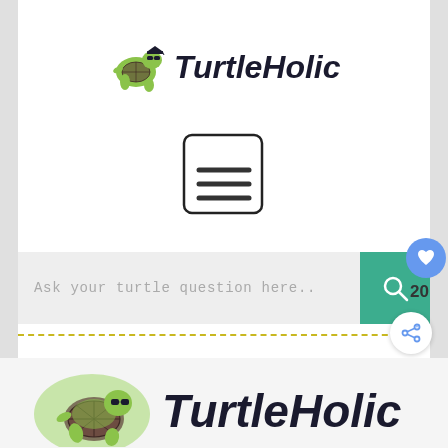[Figure (logo): TurtleHolic logo small — cartoon turtle with sunglasses and the text 'TurtleHolic' in handwritten font]
[Figure (screenshot): Hamburger menu icon — a square outline with three horizontal lines inside]
[Figure (screenshot): Search bar with placeholder text 'Ask your turtle question here..' and a teal search button with magnifier icon, heart icon badge with count 20, dashed separator line, and share icon]
[Figure (logo): TurtleHolic logo large — cartoon turtle mascot with sunglasses on green splash background, and 'TurtleHolic' in large handwritten font]